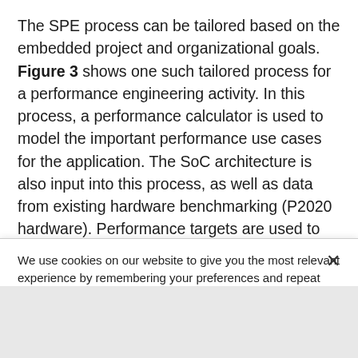The SPE process can be tailored based on the embedded project and organizational goals. Figure 3 shows one such tailored process for a performance engineering activity. In this process, a performance calculator is used to model the important performance use cases for the application. The SoC architecture is also input into this process, as well as data from existing hardware benchmarking (P2020 hardware). Performance targets are used to create a performance report which is used to document in a
We use cookies on our website to give you the most relevant experience by remembering your preferences and repeat visits. By clicking “Accept All”, you consent to the use of ALL the cookies. However, you may visit "Cookie Settings" to provide a controlled consent.